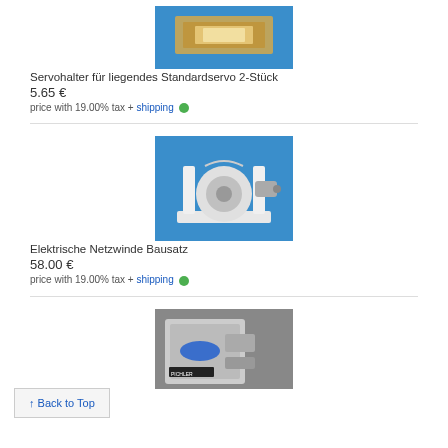[Figure (photo): Servohalter product photo on blue background]
Servohalter für liegendes Standardservo 2-Stück
5.65 €
price with 19.00% tax + shipping
[Figure (photo): Elektrische Netzwinde Bausatz product photo on blue background]
Elektrische Netzwinde Bausatz
58.00 €
price with 19.00% tax + shipping
[Figure (photo): Third product photo partially visible on blue/grey background]
↑ Back to Top